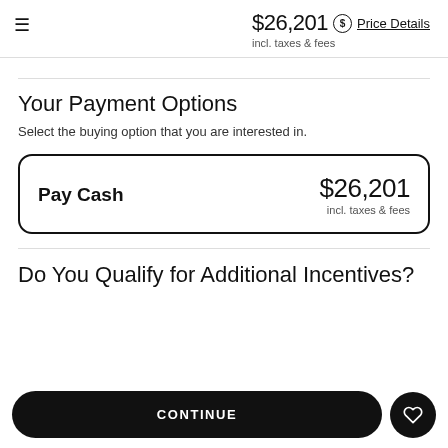≡  $26,201 incl. taxes & fees  $ Price Details
Your Payment Options
Select the buying option that you are interested in.
Pay Cash  $26,201 incl. taxes & fees
Do You Qualify for Additional Incentives?
CONTINUE